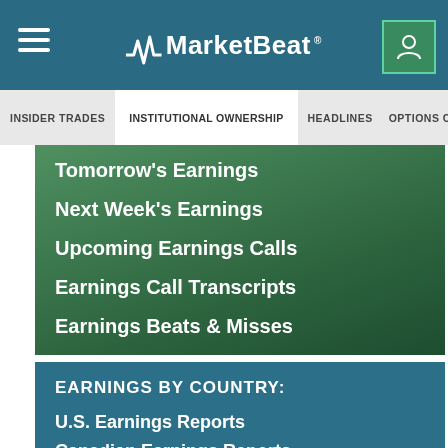MarketBeat
INSIDER TRADES | INSTITUTIONAL OWNERSHIP | HEADLINES | OPTIONS CHAIN
Tomorrow's Earnings
Next Week's Earnings
Upcoming Earnings Calls
Earnings Call Transcripts
Earnings Beats & Misses
Corporate Guidance
Earnings Screener 🔒
EARNINGS BY COUNTRY:
U.S. Earnings Reports
Canadian Earnings Reports